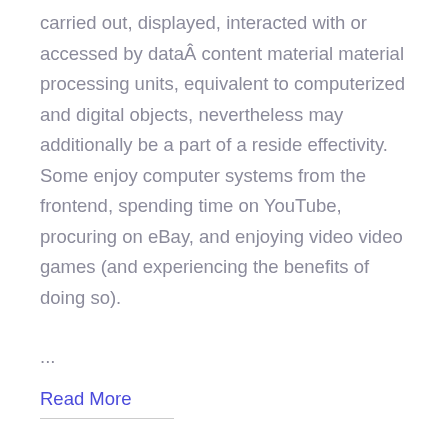carried out, displayed, interacted with or accessed by dataÂ content material material processing units, equivalent to computerized and digital objects, nevertheless may additionally be a part of a reside effectivity. Some enjoy computer systems from the frontend, spending time on YouTube, procuring on eBay, and enjoying video video games (and experiencing the benefits of doing so).
...
Read More